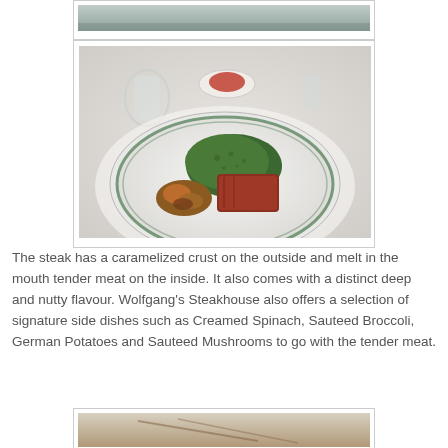[Figure (photo): Top portion of a restaurant food photo, partially visible at top of page]
[Figure (photo): A plate of steak with creamed spinach and roasted vegetables on a white plate with green rim, set on a white tablecloth with glassware and a candle holder in the background]
The steak has a caramelized crust on the outside and melt in the mouth tender meat on the inside. It also comes with a distinct deep and nutty flavour. Wolfgang's Steakhouse also offers a selection of signature side dishes such as Creamed Spinach, Sauteed Broccoli, German Potatoes and Sauteed Mushrooms to go with the tender meat.
[Figure (photo): Bottom portion of another restaurant food photo, partially visible at bottom of page]